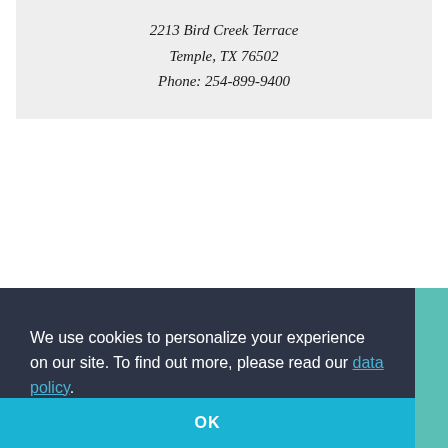2213 Bird Creek Terrace
Temple, TX 76502
Phone: 254-899-9400
We use cookies to personalize your experience on our site. To find out more, please read our data policy.
OK